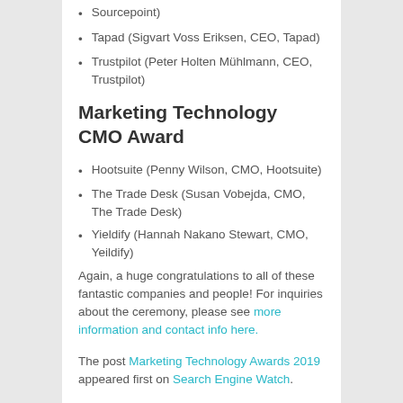Sourcepoint)
Tapad (Sigvart Voss Eriksen, CEO, Tapad)
Trustpilot (Peter Holten Mühlmann, CEO, Trustpilot)
Marketing Technology CMO Award
Hootsuite (Penny Wilson, CMO, Hootsuite)
The Trade Desk (Susan Vobejda, CMO, The Trade Desk)
Yieldify (Hannah Nakano Stewart, CMO, Yeildify)
Again, a huge congratulations to all of these fantastic companies and people! For inquiries about the ceremony, please see more information and contact info here.
The post Marketing Technology Awards 2019 appeared first on Search Engine Watch.